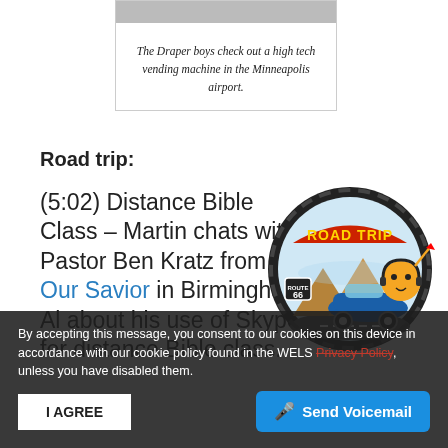[Figure (photo): Cropped photo of the Draper boys at a vending machine, partially visible at top of caption box]
The Draper boys check out a high tech vending machine in the Minneapolis airport.
Road trip:
(5:02) Distance Bible Class – Martin chats with Pastor Ben Kratz from Our Savior in Birmingham, Al about his use of Skype for distance Bible class.
[Figure (illustration): Road Trip logo illustration: cartoon character in a blue car with 'ROAD TRIP' text on a tire/circle design with Route 66 sign]
Skype.com
By accepting this message, you consent to our cookies on this device in accordance with our cookie policy found in the WELS Privacy Policy, unless you have disabled them.